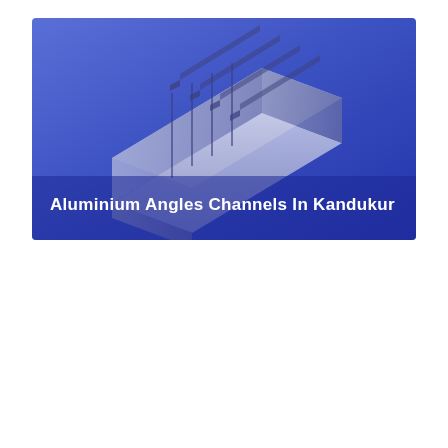[Figure (illustration): 3D rendered aluminium angle channel extrusion profile on a blue-to-purple gradient background, showing the L-shaped cross-section with ribbed texture along the length. White bold text overlay reads 'Aluminium Angles Channels In Kandukur'.]